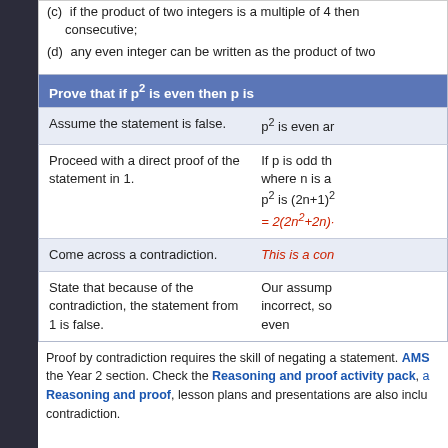(c) if the product of two integers is a multiple of 4 then consecutive;
(d) any even integer can be written as the product of two
| Prove that if p² is even then p is |  |
| --- | --- |
| Assume the statement is false. | p² is even ar |
| Proceed with a direct proof of the statement in 1. | If p is odd th where n is a p² is (2n+1)² = 2(2n²+2n)· |
| Come across a contradiction. | This is a con |
| State that because of the contradiction, the statement from 1 is false. | Our assump incorrect, so even |
Proof by contradiction requires the skill of negating a statement. AMS the Year 2 section. Check the Reasoning and proof activity pack, a Reasoning and proof, lesson plans and presentations are also inclu contradiction.